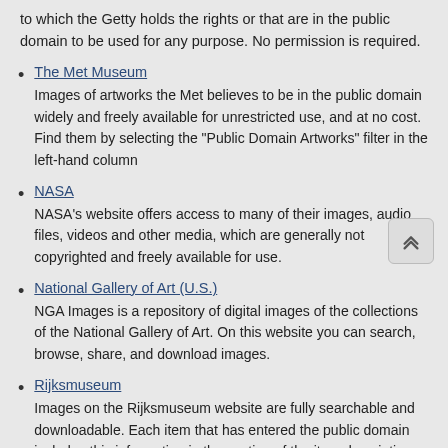to which the Getty holds the rights or that are in the public domain to be used for any purpose. No permission is required.
The Met Museum
Images of artworks the Met believes to be in the public domain widely and freely available for unrestricted use, and at no cost. Find them by selecting the "Public Domain Artworks" filter in the left-hand column
NASA
NASA's website offers access to many of their images, audio files, videos and other media, which are generally not copyrighted and freely available for use.
National Gallery of Art (U.S.)
NGA Images is a repository of digital images of the collections of the National Gallery of Art. On this website you can search, browse, share, and download images.
Rijksmuseum
Images on the Rijksmuseum website are fully searchable and downloadable. Each item that has entered the public domain includes this information in the section of the item description entitled acquisition and rights.
Yale University Art Gallery